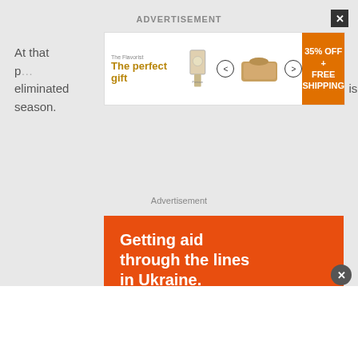ADVERTISEMENT
At that p officially eliminated this season.
[Figure (screenshot): Banner advertisement: 'The perfect gift' with food product image, navigation arrows, and '35% OFF + FREE SHIPPING' offer in orange panel]
Advertisement
[Figure (infographic): Orange advertisement banner reading 'Getting aid through the lines in Ukraine.' with 'YOU CAN HELP >>' call-to-action button in outlined style]